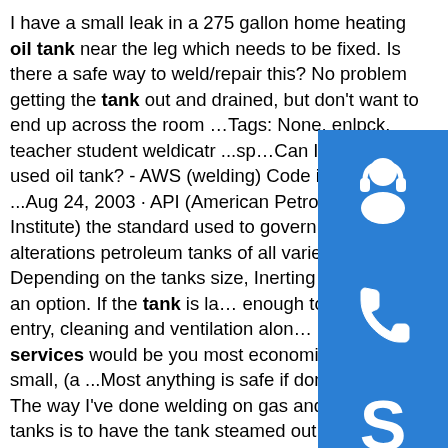I have a small leak in a 275 gallon home heating oil tank near the leg which needs to be fixed. Is there a safe way to weld/repair this? No problem getting the tank out and drained, but don't want to end up across the room … Tags: None. enlpck. teacher student weldicatr ...sp… Can I weld a used oil tank? - AWS (welding) Code issues ...Aug 24, 2003 · API (American Petroleum Institute) the standard used to govern repairs and alterations petroleum tanks of all varietes. Depending on the tanks size, Inerting may not be an option. If the tank is large enough to allow entry, cleaning and ventilation alon… Gas free services would be you most economical option. If it is small, (a ...Most anything is safe if done properly. The way I've done welding on gas and diesel tanks is to have the tank steamed out and then checked with a s...I agree wholeheartedly with Mike Milburn as to the fear in the back of your mind as you strike up. A method I have used in the past is to fill the...depending on the size of the tank purging with argon or other inert gas is an option.
[Figure (infographic): Three blue sidebar buttons: headphone/support icon, phone icon, and Skype icon]